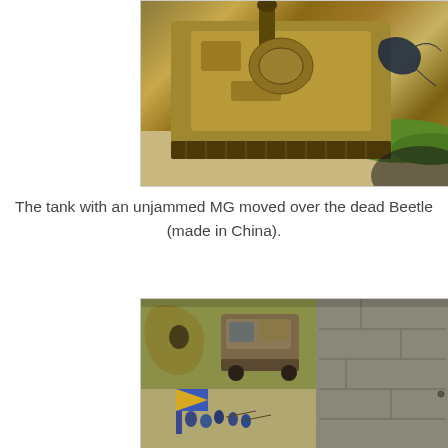[Figure (photo): Close-up photo of a painted miniature tank (top-down/angled view) with a gun barrel visible, rust and weathering effects on the hull, miniature scorpion or insect figure visible to the right, gravel and grass ground cover visible.]
The tank with an unjammed MG moved over the dead Beetle (made in China).
[Figure (photo): Photo of a tabletop wargame scene showing painted miniature soldiers in blue and gold uniforms carrying a flag, large creature/monster figure in the background, a weathered truck model, and a dark stone wall on the right side.]